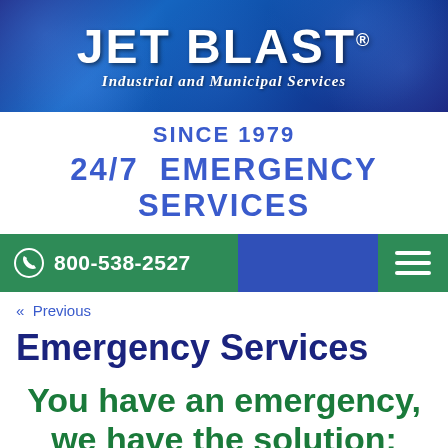[Figure (logo): Jet Blast logo banner with blue water droplet background, white bold text 'JET BLAST' and subtitle 'Industrial and Municipal Services']
SINCE 1979
24/7  EMERGENCY SERVICES
[Figure (infographic): Navigation bar with green background, phone icon and number 800-538-2527, blue section, green hamburger menu]
« Previous
Emergency Services
You have an emergency, we have the solution: response within 24 hours